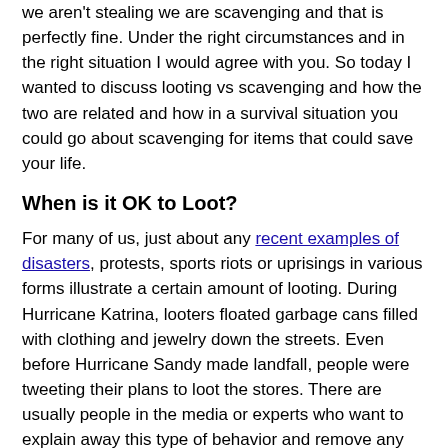we aren't stealing we are scavenging and that is perfectly fine. Under the right circumstances and in the right situation I would agree with you. So today I wanted to discuss looting vs scavenging and how the two are related and how in a survival situation you could go about scavenging for items that could save your life.
When is it OK to Loot?
For many of us, just about any recent examples of disasters, protests, sports riots or uprisings in various forms illustrate a certain amount of looting. During Hurricane Katrina, looters floated garbage cans filled with clothing and jewelry down the streets. Even before Hurricane Sandy made landfall, people were tweeting their plans to loot the stores. There are usually people in the media or experts who want to explain away this type of behavior and remove any responsibility from the people committing the actions and associate guilt to society...